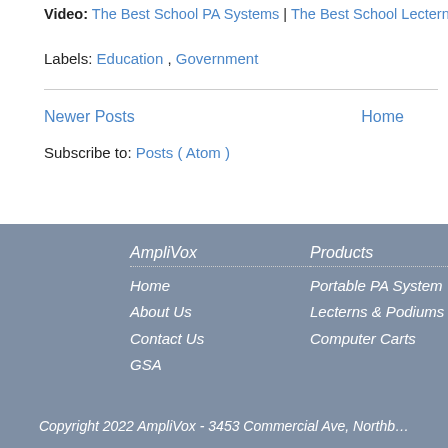Video: The Best School PA Systems | The Best School Lecterns and Podi…
Labels: Education , Government
Newer Posts
Home
Subscribe to: Posts ( Atom )
AmpliVox
Home
About Us
Contact Us
GSA
Products
Portable PA System
Lecterns & Podiums
Computer Carts
Copyright 2022 AmpliVox - 3453 Commercial Ave, Northb…